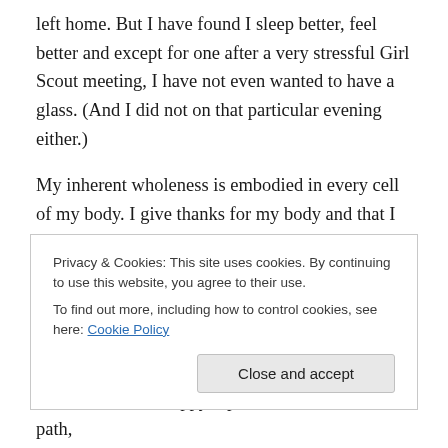left home.  But I have found I sleep better, feel better and except for one after a very stressful Girl Scout meeting, I have not even wanted to have a glass.  (And I did not on that particular evening either.)
My inherent wholeness is embodied in every cell of my body.  I give thanks for my body and that I can choose to take care of it as I see fit.  I avoid sweets and eat balanced meals that are healthy.  I enjoy quinoa, lentils, healthy fats, and garden greens from my backyard such as kale, beets, lettuces, arugula and herbs, year round.  I also enjoy
Privacy & Cookies: This site uses cookies. By continuing to use this website, you agree to their use.
To find out more, including how to control cookies, see here: Cookie Policy
whole, well, and happy.  I plan to continue on this path,